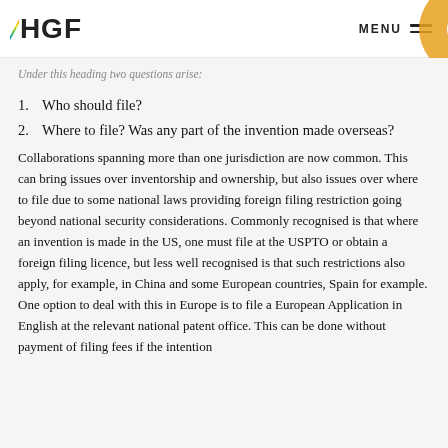HGF | MENU
Under this heading two questions arise:
1. Who should file?
2. Where to file? Was any part of the invention made overseas?
Collaborations spanning more than one jurisdiction are now common. This can bring issues over inventorship and ownership, but also issues over where to file due to some national laws providing foreign filing restriction going beyond national security considerations. Commonly recognised is that where an invention is made in the US, one must file at the USPTO or obtain a foreign filing licence, but less well recognised is that such restrictions also apply, for example, in China and some European countries, Spain for example. One option to deal with this in Europe is to file a European Application in English at the relevant national patent office. This can be done without payment of filing fees if the intention